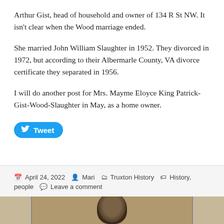Arthur Gist, head of household and owner of 134 R St NW. It isn't clear when the Wood marriage ended.
She married John William Slaughter in 1952. They divorced in 1972, but according to their Albermarle County, VA divorce certificate they separated in 1956.
I will do another post for Mrs. Mayme Eloyce King Patrick-Gist-Wood-Slaughter in May, as a home owner.
[Figure (other): Blue Twitter 'Tweet' button with bird icon]
April 24, 2022  Mari  Truxton History  History, people  Leave a comment
[Figure (photo): Bottom portion of a historical photograph showing the top of a person's head with dark hair, against a light background. Photo is cropped.]